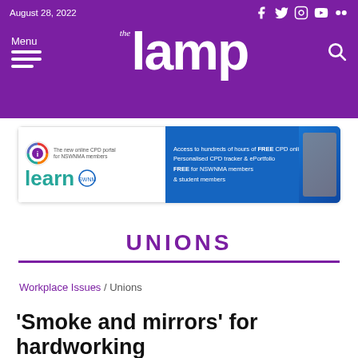August 28, 2022
[Figure (logo): The Lamp magazine logo - white text on purple background with social media icons (Facebook, Twitter, Instagram, YouTube, Flickr), Menu hamburger, and search icon]
[Figure (infographic): ilearn CPD portal advertisement banner - Access to hundreds of hours of FREE CPD online, Personalised CPD tracker & ePortfolio, FREE for NSWNMA members & student members]
UNIONS
Workplace Issues / Unions
'Smoke and mirrors' for hardworking